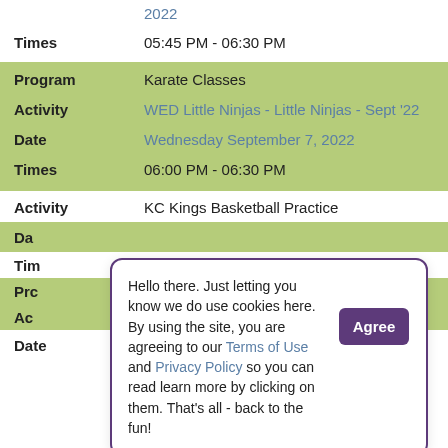2022
Times   05:45 PM - 06:30 PM
Program   Karate Classes
Activity   WED Little Ninjas - Little Ninjas - Sept '22
Date   Wednesday September 7, 2022
Times   06:00 PM - 06:30 PM
Activity   KC Kings Basketball Practice
Da
Tim
Prc
Ac
Hello there. Just letting you know we do use cookies here. By using the site, you are agreeing to our Terms of Use and Privacy Policy so you can read learn more by clicking on them. That's all - back to the fun!
Date   Wednesday September 7,